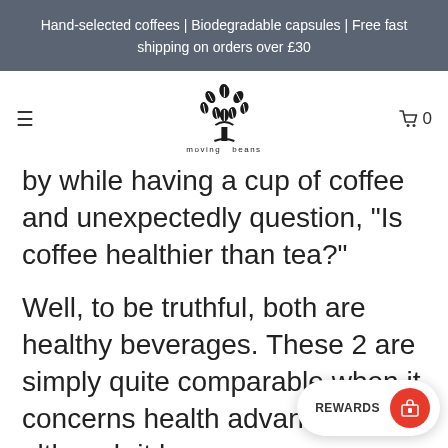Hand-selected coffees | Biodegradable capsules | Free fast shipping on orders over £30
[Figure (logo): Moving Beans logo: stylized tree made of coffee beans with text 'moving beans' below]
by while having a cup of coffee and unexpectedly question, "Is coffee healthier than tea?"
Well, to be truthful, both are healthy beverages. These 2 are simply quite comparable when it concerns health advantages, although it h or distinctions. If you wish to